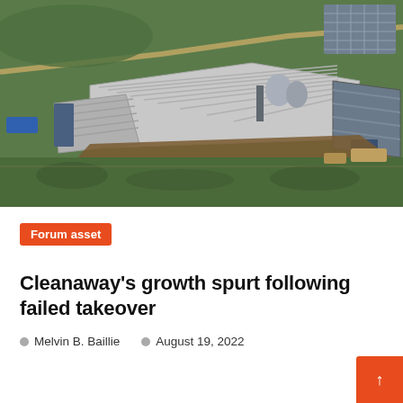[Figure (photo): Aerial photograph of an industrial facility with large warehouse/factory buildings with white roofs, surrounded by green fields, dirt areas, and vegetation. A road and what appears to be a solar farm are visible in the upper right.]
Forum asset
Cleanaway's growth spurt following failed takeover
Melvin B. Baillie    August 19, 2022